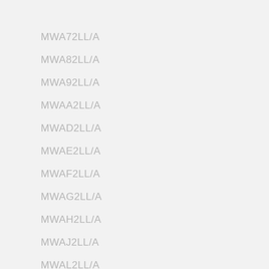MWA72LL/A
MWA82LL/A
MWA92LL/A
MWAA2LL/A
MWAD2LL/A
MWAE2LL/A
MWAF2LL/A
MWAG2LL/A
MWAH2LL/A
MWAJ2LL/A
MWAL2LL/A